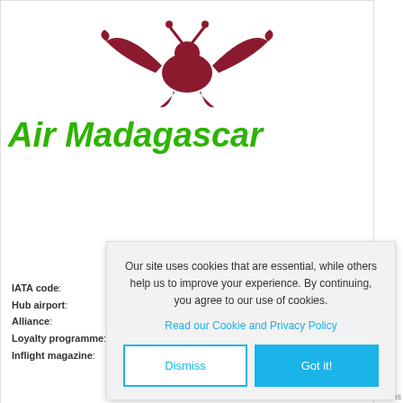[Figure (logo): Air Madagascar logo: dark red/maroon stylized bird (zebu or emblem) above the text 'Air Madagascar' in bold italic green]
Air Madagascar
IATA code:
Hub airport:
Alliance:
Loyalty programme:
Inflight magazine:
Our site uses cookies that are essential, while others help us to improve your experience. By continuing, you agree to our use of cookies.
Read our Cookie and Privacy Policy
Dismiss  Got it!